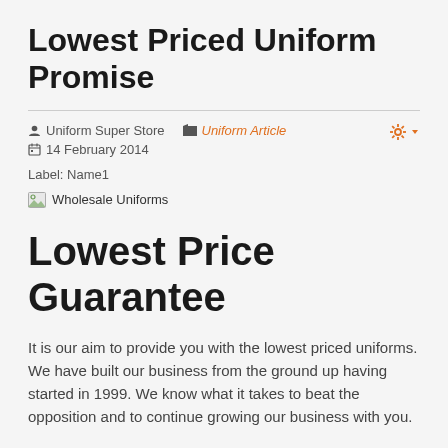Lowest Priced Uniform Promise
Uniform Super Store   Uniform Article
14 February 2014
Label: Name1
[Figure (other): Broken image placeholder labeled 'Wholesale Uniforms']
Lowest Price Guarantee
It is our aim to provide you with the lowest priced uniforms. We have built our business from the ground up having started in 1999. We know what it takes to beat the opposition and to continue growing our business with you.